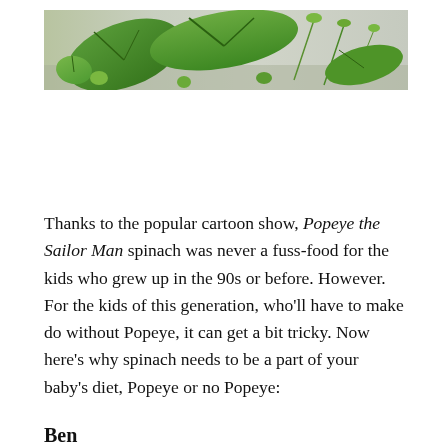[Figure (photo): Close-up photo of fresh green spinach leaves and sprouts on a grey surface]
Thanks to the popular cartoon show, Popeye the Sailor Man spinach was never a fuss-food for the kids who grew up in the 90s or before. However. For the kids of this generation, who'll have to make do without Popeye, it can get a bit tricky. Now here's why spinach needs to be a part of your baby's diet, Popeye or no Popeye:
Benefits of Spinach